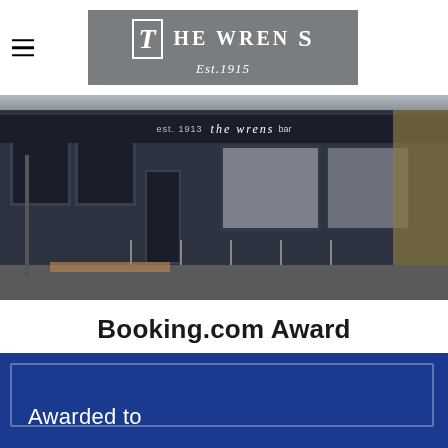[Figure (logo): The Wrens Est. 1915 logo on grey background]
[Figure (photo): Exterior photo of The Wrens bar, a dark navy/charcoal painted building on a street corner with railings and brick pavement]
Booking.com Award
[Figure (other): Blue Booking.com award certificate background with text 'Awarded to' visible at bottom]